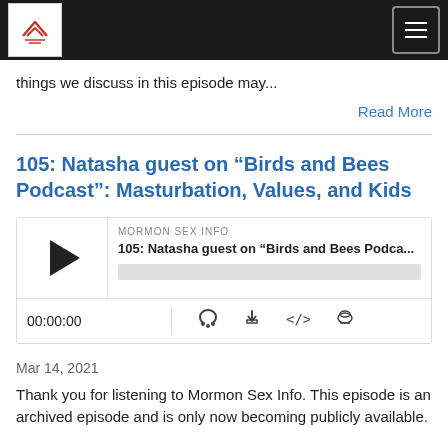[Navigation bar with logo and hamburger menu]
things we discuss in this episode may...
Read More
105: Natasha guest on “Birds and Bees Podcast”: Masturbation, Values, and Kids
[Figure (other): Podcast audio player widget showing MORMON SEX INFO as source, episode title '105: Natasha guest on “Birds and Bees Podca...', play button, progress bar, timestamp 00:00:00, and control icons for RSS, download, embed, and share.]
Mar 14, 2021
Thank you for listening to Mormon Sex Info. This episode is an archived episode and is only now becoming publicly available.